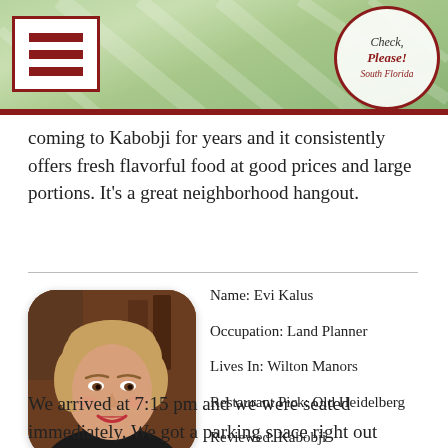Check, Please! South Florida
coming to Kabobji for years and it consistently offers fresh flavorful food at good prices and large portions. It's a great neighborhood hangout.
[Figure (photo): Profile photo of Evi Kalus, a middle-aged woman with blonde hair and red lipstick, smiling, shown from shoulders up in a rounded-corner portrait style photo]
Name: Evi Kalus
Occupation: Land Planner
Lives In: Wilton Manors
Restaurant Pick: Old Heidelberg
Reviewed: Kabobji
We arrived at 7:15 pm and we were seated immediately. We got a parking space right out front. I ordered a glass